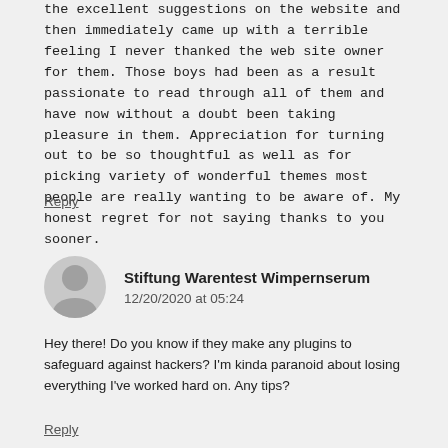the excellent suggestions on the website and then immediately came up with a terrible feeling I never thanked the web site owner for them. Those boys had been as a result passionate to read through all of them and have now without a doubt been taking pleasure in them. Appreciation for turning out to be so thoughtful as well as for picking variety of wonderful themes most people are really wanting to be aware of. My honest regret for not saying thanks to you sooner.
Reply
Stiftung Warentest Wimpernserum
12/20/2020 at 05:24
Hey there! Do you know if they make any plugins to safeguard against hackers? I'm kinda paranoid about losing everything I've worked hard on. Any tips?
Reply